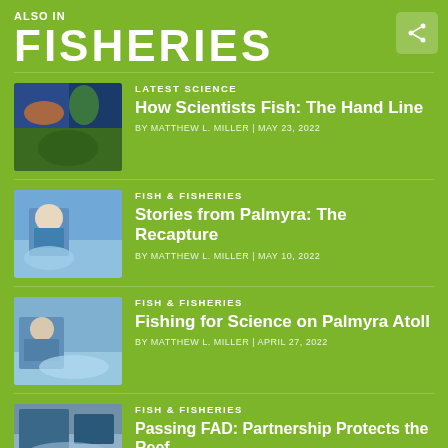ALSO IN
FISHERIES
LATEST SCIENCE | How Scientists Fish: The Hand Line | BY MATTHEW L. MILLER | MAY 23, 2022
FISH & FISHERIES | Stories from Palmyra: The Recapture | BY MATTHEW L. MILLER | MAY 10, 2022
FISH & FISHERIES | Fishing for Science on Palmyra Atoll | BY MATTHEW L. MILLER | APRIL 27, 2022
FISH & FISHERIES | Passing FAD: Partnership Protects the Reef